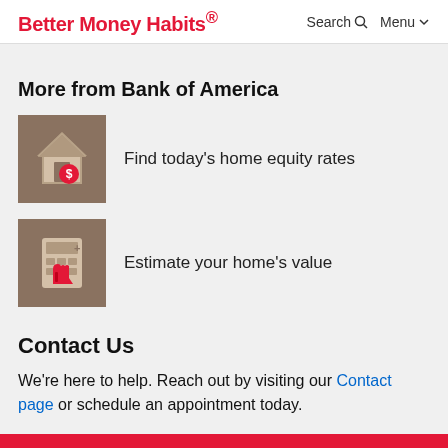Better Money Habits® Search Menu
More from Bank of America
[Figure (illustration): Brown square icon with a house and dollar sign, representing home equity]
Find today's home equity rates
[Figure (illustration): Brown square icon with a calculator and red hand pointer, representing home value estimation]
Estimate your home's value
Contact Us
We're here to help. Reach out by visiting our Contact page or schedule an appointment today.